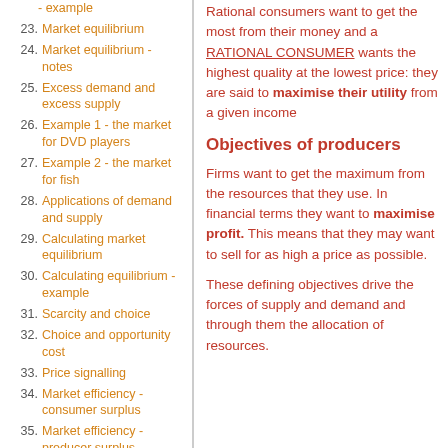22. Linear supply functions - example
23. Market equilibrium
24. Market equilibrium - notes
25. Excess demand and excess supply
26. Example 1 - the market for DVD players
27. Example 2 - the market for fish
28. Applications of demand and supply
29. Calculating market equilibrium
30. Calculating equilibrium - example
31. Scarcity and choice
32. Choice and opportunity cost
33. Price signalling
34. Market efficiency - consumer surplus
35. Market efficiency - producer surplus
36. Allocative efficiency
Rational consumers want to get the most from their money and a RATIONAL CONSUMER wants the highest quality at the lowest price: they are said to maximise their utility from a given income
Objectives of producers
Firms want to get the maximum from the resources that they use. In financial terms they want to maximise profit. This means that they may want to sell for as high a price as possible.
These defining objectives drive the forces of supply and demand and through them the allocation of resources.